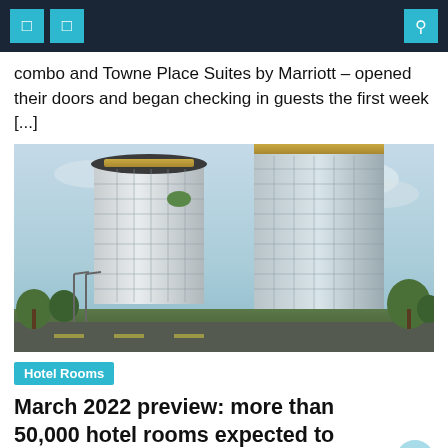Navigation bar with icons
combo and Towne Place Suites by Marriott — opened their doors and began checking in guests the first week [...]
[Figure (illustration): Architectural rendering of two modern glass hotel towers with gold/metallic tops against a cloudy sky, with trees and street in foreground]
Hotel Rooms
March 2022 preview: more than 50,000 hotel rooms expected to open [Infographic]
March 1, 2022   Gary D. Avera